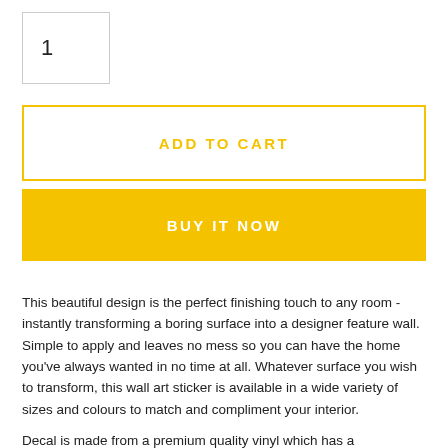1
ADD TO CART
BUY IT NOW
This beautiful design is the perfect finishing touch to any room - instantly transforming a boring surface into a designer feature wall. Simple to apply and leaves no mess so you can have the home you've always wanted in no time at all. Whatever surface you wish to transform, this wall art sticker is available in a wide variety of sizes and colours to match and compliment your interior.
Decal is made from a premium quality vinyl which has a...